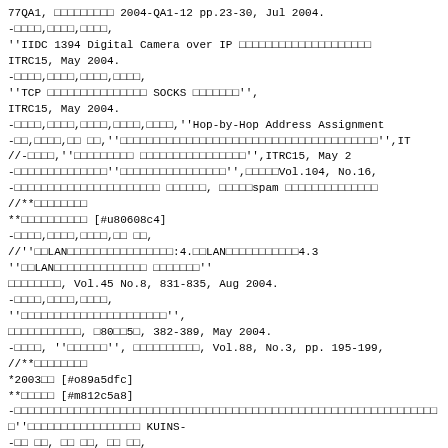77QA1, □□□□□□□□□ 2004-QA1-12 pp.23-30, Jul 2004.
-□□□□,□□□□,□□□□,
''IIDC 1394 Digital Camera over IP □□□□□□□□□□□□□□□□□□□□
ITRC15, May 2004.
-□□□□,□□□□,□□□□,□□□□,
''TCP □□□□□□□□□□□□□□□ SOCKS □□□□□□□'',
ITRC15, May 2004.
-□□□□,□□□□,□□□□,□□□□,□□□□,''Hop-by-Hop Address Assignment
-□□,□□□□,□□ □□,''□□□□□□□□□□□□□□□□□□□□□□□□□□□□□□□□□□□□□□'',IT
//-□□□□,''□□□□□□□□□ □□□□□□□□□□□□□□□□'',ITRC15, May 2
-□□□□□□□□□□□□□□''□□□□□□□□□□□□□□□□'',□□□□□Vol.104, No.16,
-□□□□□□□□□□□□□□□□□□□□□□ □□□□□□, □□□□□spam □□□□□□□□□□□□□□
//**□□□□□□□□
**□□□□□□□□□□ [#u80608c4]
-□□□□,□□□□,□□□□,□□ □□,
//''□□LAN□□□□□□□□□□□□□□□□□□:4.□□LAN□□□□□□□□□□□4.3
''□□LAN□□□□□□□□□□□□□□□□ □□□□□□□''
□□□□□□□□, Vol.45 No.8, 831-835, Aug 2004.
-□□□□,□□□□,□□□□,
''□□□□□□□□□□□□□□□□□□□□□□'',
□□□□□□□□□□□, □80□□5□, 382-389, May 2004.
-□□□□, ''□□□□□□'', □□□□□□□□□□, Vol.88, No.3, pp. 195-199,
//**□□□□□□□□
*2003□□ [#o89a5dfc]
**□□□□□ [#m812c5a8]
-□□□□□□□□□□□□□□□□□□□□□□□□□□□□□□□□□□□□□□□□□□□□□□□□□□□□□□□□□□
-□□ □□, □□ □□, □□ □□,
''□□□□□□□□□□□□□□□□□□IDS□□□□□□□□□□□'',
□□□□□□□□□, Vol.44, No.8, pp.1861-1871, Aug. 2003.
-Halldorsson, M., Irving, R., Iwama, K., Manlove, D., Miya